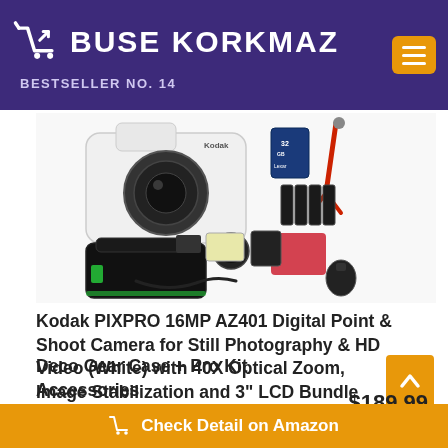BUSE KORKMAZ — BESTSELLER NO. 14
[Figure (photo): Kodak PIXPRO AZ401 camera kit with camera body (white), 32GB Lexar SD card, batteries, red flexible tripod, camera bag (black with green trim), lens cap, cleaning accessories, and other accessories arranged on white background.]
Kodak PIXPRO 16MP AZ401 Digital Point & Shoot Camera for Still Photography & HD Video (White) with 40X Optical Zoom, Image Stabilization and 3" LCD Bundle with Deco Gear Case + Pro Kit Accessories
$189.99
Check Detail on Amazon